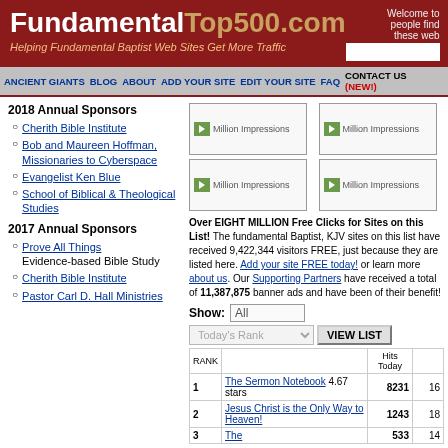FundamentalTop500.com — Helping Fundamental Baptist Web Sites Get More Traffic
Navigation: ANCIENT GIANTS | BLOG | ABOUT | ADD YOUR SITE | EDIT YOUR SITE | FAQ | CONTACT US (NEW!)
2018 Annual Sponsors
Cherith Bible Institute
Bob and Maureen Hoffman, Missionaries to Cyberspace
Evangelist Ken Blue
School of Biblical & Theological Studies
2017 Annual Sponsors
Prove All Things — Evidence-based Bible Study
Cherith Bible Institute
Pastor Carl D. Hall Ministries
[Figure (screenshot): Four banner ad placeholders labeled 'Million Impressions' in a 2x2 grid]
Over EIGHT MILLION Free Clicks for Sites on this List! The fundamental Baptist, KJV sites on this list have received 9,422,344 visitors FREE, just because they are listed here. Add your site FREE today! or learn more about us. Our Supporting Partners have received a total of 11,387,875 banner ads and have been of their benefit!
| RANK |  | Hits Today |  |
| --- | --- | --- | --- |
| 1 | The Sermon Notebook 4.67 stars | 8231 | 16 |
| 2 | Jesus Christ is the Only Way to Heaven! | 1243 | 18 |
| 3 | The | 533 | 14 |